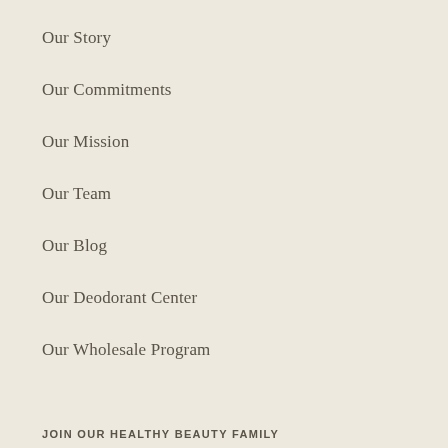Our Story
Our Commitments
Our Mission
Our Team
Our Blog
Our Deodorant Center
Our Wholesale Program
JOIN OUR HEALTHY BEAUTY FAMILY